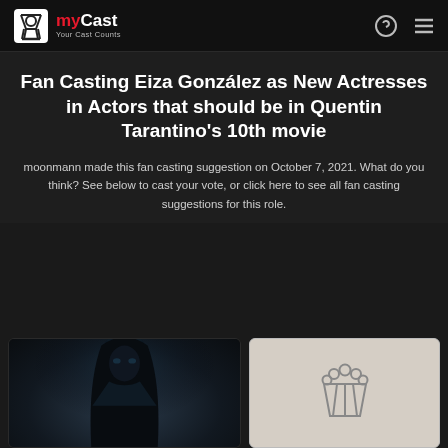myCast — Your Cast Counts
Fan Casting Eiza González as New Actresses in Actors that should be in Quentin Tarantino's 10th movie
moonmann made this fan casting suggestion on October 7, 2021. What do you think? See below to cast your vote, or click here to see all fan casting suggestions for this role.
[Figure (photo): Photo of Eiza González (dark hair, dramatic lighting) alongside a popcorn bucket illustration icon on a beige background]